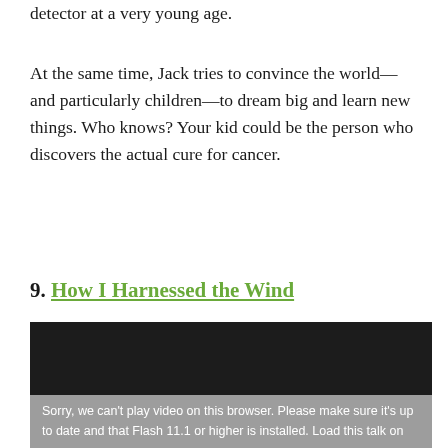detector at a very young age.
At the same time, Jack tries to convince the world—and particularly children—to dream big and learn new things. Who knows? Your kid could be the person who discovers the actual cure for cancer.
9. How I Harnessed the Wind
[Figure (screenshot): Dark video player embed showing a TED talk video with an overlay message: 'Sorry, we can't play video on this browser. Please make sure it's up to date and that Flash 11.1 or higher is installed. Load this talk on']